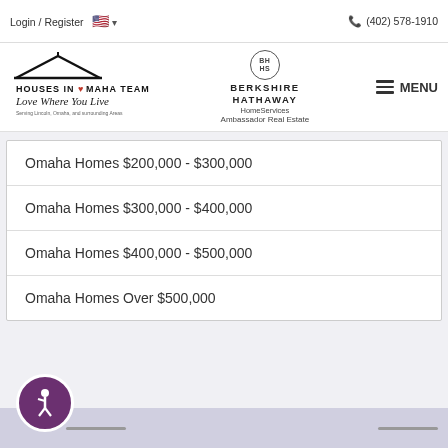Login / Register   (402) 578-1910
[Figure (logo): Houses in Omaha Team - Love Where You Live logo with roof/house graphic]
[Figure (logo): Berkshire Hathaway HomeServices Ambassador Real Estate logo]
Omaha Homes $200,000 - $300,000
Omaha Homes $300,000 - $400,000
Omaha Homes $400,000 - $500,000
Omaha Homes Over $500,000